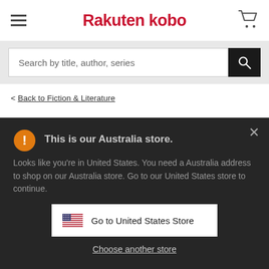Rakuten kobo
Search by title, author, series
< Back to Fiction & Literature
The 5th Witch
[Figure (photo): Book cover of The 5th Witch with red handwritten-style text on light background]
This is our Australia store.
Looks like you're in United States. You need a Australia address to shop on our Australia store. Go to our United States store to continue.
Go to United States Store
Choose another store